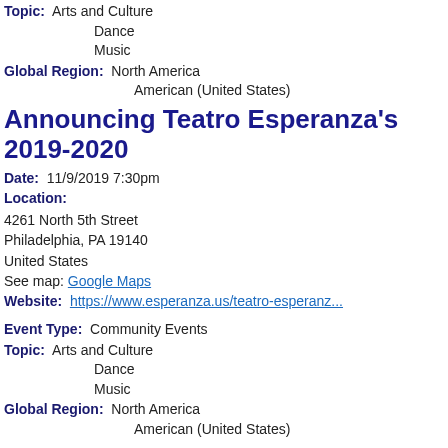Topic: Arts and Culture
    Dance
    Music
Global Region: North America
    American (United States)
Announcing Teatro Esperanza's 2019-2020
Date: 11/9/2019 7:30pm
Location:
4261 North 5th Street
Philadelphia, PA 19140
United States
See map: Google Maps
Website: https://www.esperanza.us/teatro-esperanz...
Event Type: Community Events
Topic: Arts and Culture
    Dance
    Music
Global Region: North America
    American (United States)
Announcing Teatro Esperanza's 2019-2020 Music from Puerto Rico, with Suzzette Ortiz
Date: 11/22/2019 7:30pm
Location: